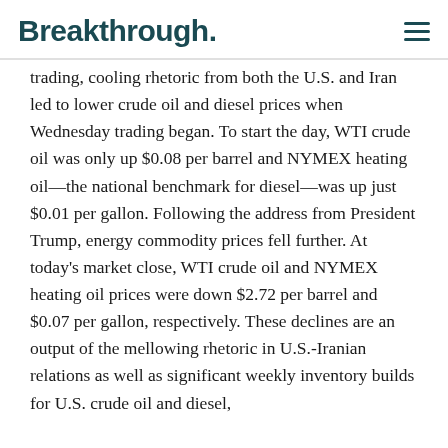Breakthrough.
trading, cooling rhetoric from both the U.S. and Iran led to lower crude oil and diesel prices when Wednesday trading began. To start the day, WTI crude oil was only up $0.08 per barrel and NYMEX heating oil—the national benchmark for diesel—was up just $0.01 per gallon. Following the address from President Trump, energy commodity prices fell further. At today's market close, WTI crude oil and NYMEX heating oil prices were down $2.72 per barrel and $0.07 per gallon, respectively. These declines are an output of the mellowing rhetoric in U.S.-Iranian relations as well as significant weekly inventory builds for U.S. crude oil and diesel, as reported by the Energy Information